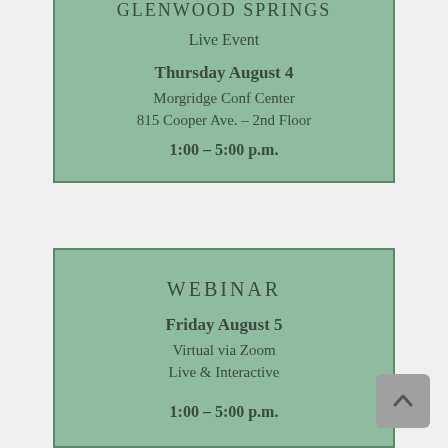GLENWOOD SPRINGS
Live Event
Thursday August 4
Morgridge Conf Center
815 Cooper Ave. – 2nd Floor
1:00 – 5:00 p.m.
WEBINAR
Friday August 5
Virtual via Zoom
Live & Interactive
1:00 – 5:00 p.m.